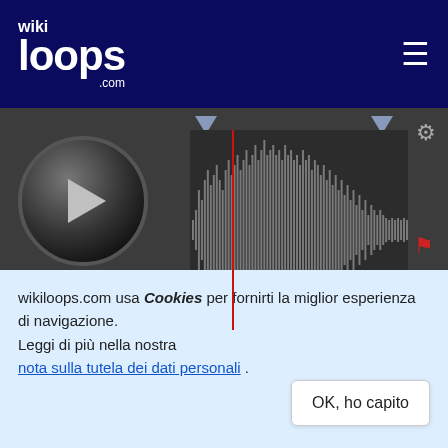wiki loops .com
[Figure (screenshot): Audio player with waveform display showing 135 BPM, timestamps 00:00 and 00:00, play button, volume control, settings gear, flag icon, PUB button, seek handles]
1400 jams ★
Remix disponibili:
[Figure (photo): Small thumbnail of a harmonica instrument]
wikiloops.com usa i Cookies per fornirti la miglior esperienza di navigazione.
Leggi di più nella nostra nota sulla tutela dei dati personali .
OK, ho capito